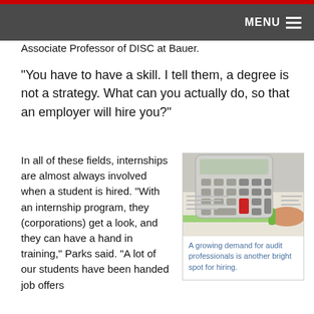MENU
Associate Professor of DISC at Bauer.
“You have to have a skill. I tell them, a degree is not a strategy. What can you actually do, so that an employer will hire you?”
In all of these fields, internships are almost always involved when a student is hired. “With an internship program, they (corporations) get a look, and they can have a hand in training,” Parks said. “A lot of our students have been handed job offers
[Figure (photo): A calculator and a hand holding a green highlighter over financial documents]
A growing demand for audit professionals is another bright spot for hiring.